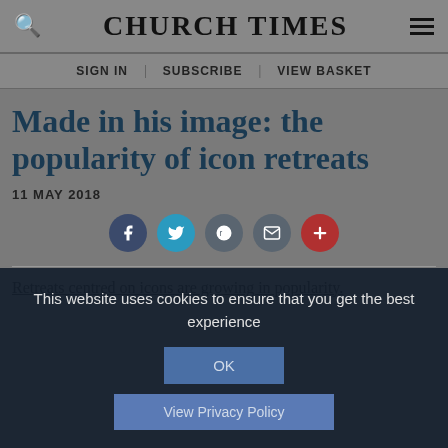CHURCH TIMES
SIGN IN | SUBSCRIBE | VIEW BASKET
Made in his image: the popularity of icon retreats
11 MAY 2018
[Figure (infographic): Social sharing buttons: Facebook (dark blue), Twitter (blue), Reddit (grey), Email (grey), Plus/More (red)]
Retreats centred on icons are growing in popularity.
This website uses cookies to ensure that you get the best experience
OK
View Privacy Policy